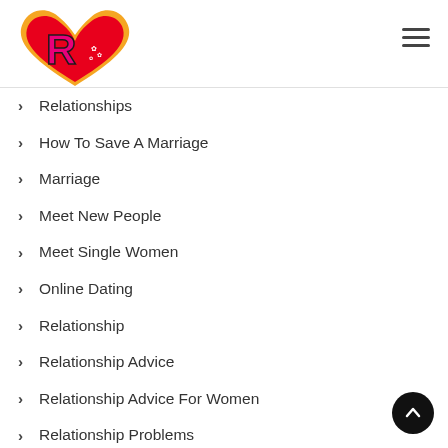[Figure (logo): Relationship advice website logo: orange and red heart shape with a pink/magenta letter R and decorative red flowers]
Relationships
How To Save A Marriage
Marriage
Meet New People
Meet Single Women
Online Dating
Relationship
Relationship Advice
Relationship Advice For Women
Relationship Problems
Relationship Tips